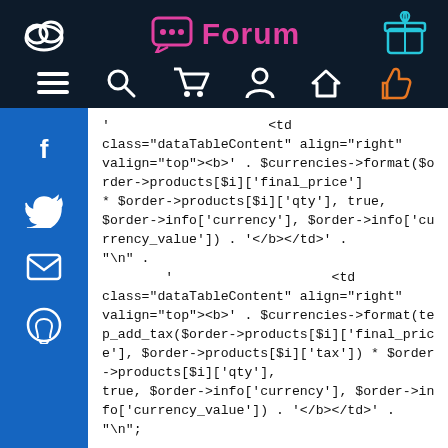Forum
' <td class="dataTableContent" align="right" valign="top"><b>' . $currencies->format($order->products[$i]['final_price'] * $order->products[$i]['qty'], true, $order->info['currency'], $order->info['currency_value']) . '</b></td>' . "\n" . ' <td class="dataTableContent" align="right" valign="top"><b>' . $currencies->format(tep_add_tax($order->products[$i]['final_price'], $order->products[$i]['tax']) * $order->products[$i]['qty'], true, $order->info['currency'], $order->info['currency_value']) . '</b></td>' . "\n";